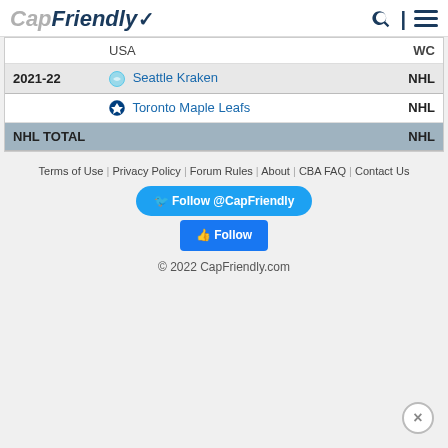CapFriendly
|  | USA |  | WC |
| --- | --- | --- | --- |
| 2021-22 | Seattle Kraken |  | NHL |
|  | Toronto Maple Leafs |  | NHL |
| NHL TOTAL |  |  | NHL |
Terms of Use | Privacy Policy | Forum Rules | About | CBA FAQ | Contact Us
Follow @CapFriendly
Follow
© 2022 CapFriendly.com